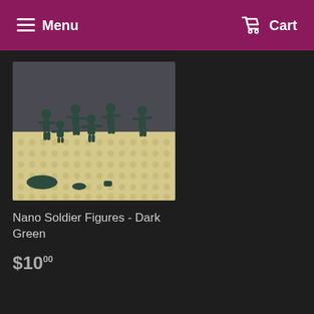Menu  Cart
[Figure (photo): Photo of dark green nano soldier LEGO-style mini figures arranged on a tan/cream LEGO baseplate. Multiple small dark green military figures in various action poses with weapons, on a flat stud-covered base.]
Nano Soldier Figures - Dark Green
$10.00